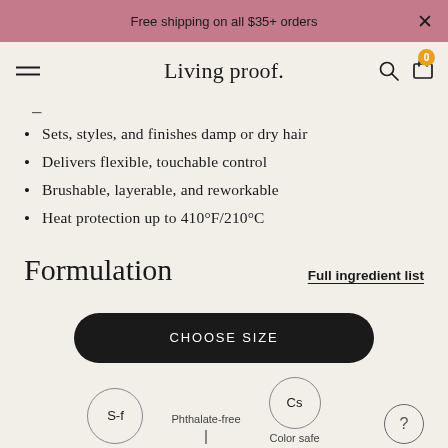Free shipping on all $35+ orders
Living proof.
Sets, styles, and finishes damp or dry hair
Delivers flexible, touchable control
Brushable, layerable, and reworkable
Heat protection up to 410°F/210°C
Formulation
Full ingredient list
CHOOSE SIZE
S-f  Phthalate-free  Cs  Color safe